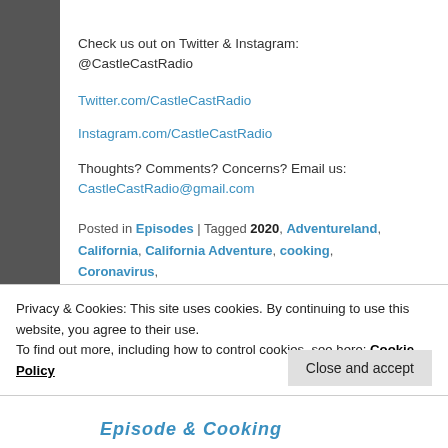Check us out on Twitter & Instagram: @CastleCastRadio
Twitter.com/CastleCastRadio
Instagram.com/CastleCastRadio
Thoughts? Comments? Concerns? Email us: CastleCastRadio@gmail.com
Posted in Episodes | Tagged 2020, Adventureland, California, California Adventure, cooking, Coronavirus, Covid-19, disney, disney world, disneyland, Fantasyland, food, Live Show, parade, podcast, Rise of the Resistance,
Privacy & Cookies: This site uses cookies. By continuing to use this website, you agree to their use. To find out more, including how to control cookies, see here: Cookie Policy
Close and accept